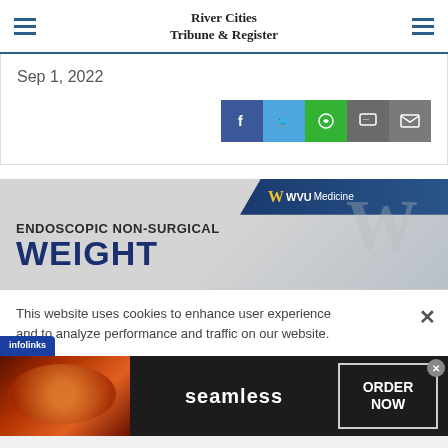River Cities Tribune & Register
Sep 1, 2022
[Figure (other): Social share buttons: Facebook, Twitter, WhatsApp, Chat, Email]
[Figure (other): WVU Medicine advertisement: ENDOSCOPIC NON-SURGICAL WEIGHT (loss treatment)]
This website uses cookies to enhance user experience and to analyze performance and traffic on our website.
[Figure (other): Seamless food delivery advertisement with pizza image and ORDER NOW button]
infolinks